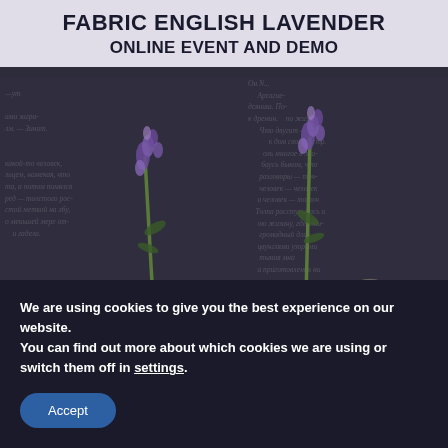FABRIC ENGLISH LAVENDER
ONLINE EVENT AND DEMO
[Figure (photo): Photo of lavender sprigs with purple flowers resting on an open book with Russian text, dimly lit with a dark overlay]
We are using cookies to give you the best experience on our website.
You can find out more about which cookies we are using or switch them off in settings.
Accept